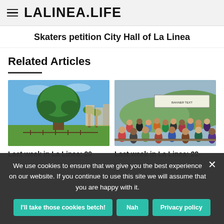LALINEA.LIFE
Skaters petition City Hall of La Linea
Related Articles
[Figure (photo): A large dragon tree (Dracaena draco) in a park with palm trees and buildings in the background, blue sky]
Last week in La Linea: 29
[Figure (photo): A crowd of people gathered outdoors at a protest or community event, with banners visible in the background, green hills]
Last week in La Linea: 22-
We use cookies to ensure that we give you the best experience on our website. If you continue to use this site we will assume that you are happy with it.
I'll take those cookies betch!
Nah
Privacy policy